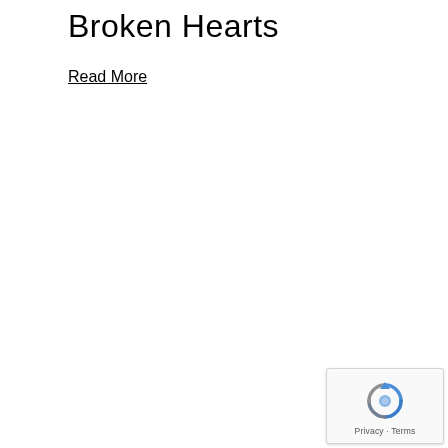Broken Hearts
Read More
[Figure (logo): reCAPTCHA widget with spinning arrow logo and Privacy - Terms text]